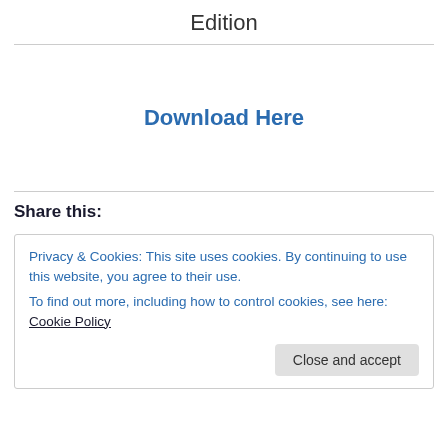Edition
Download Here
Share this:
Privacy & Cookies: This site uses cookies. By continuing to use this website, you agree to their use.
To find out more, including how to control cookies, see here: Cookie Policy